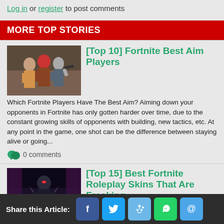Log in or register to post comments
MORE TOP STORIES
[Figure (photo): Three Fortnite character skins posed together]
[Top 10] Fortnite Best Aim Players
Which Fortnite Players Have The Best Aim? Aiming down your opponents in Fortnite has only gotten harder over time, due to the constant growing skills of opponents with building, new tactics, etc. At any point in the game, one shot can be the difference between staying alive or going...
0 comments
[Figure (photo): Dark Fortnite roleplay skin character in dramatic pose]
[Top 15] Best Fortnite Roleplay Skins That Are Freaking
Share this Article: